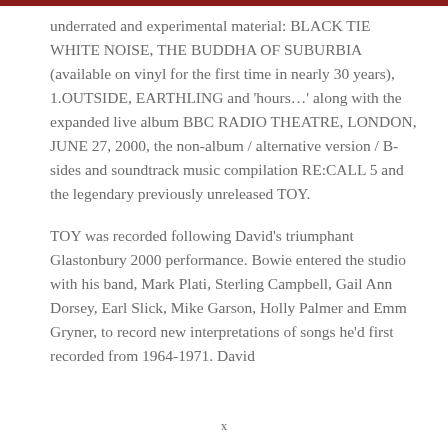underrated and experimental material: BLACK TIE WHITE NOISE, THE BUDDHA OF SUBURBIA (available on vinyl for the first time in nearly 30 years), 1.OUTSIDE, EARTHLING and 'hours…' along with the expanded live album BBC RADIO THEATRE, LONDON, JUNE 27, 2000, the non-album / alternative version / B-sides and soundtrack music compilation RE:CALL 5 and the legendary previously unreleased TOY.
TOY was recorded following David's triumphant Glastonbury 2000 performance. Bowie entered the studio with his band, Mark Plati, Sterling Campbell, Gail Ann Dorsey, Earl Slick, Mike Garson, Holly Palmer and Emm Gryner, to record new interpretations of songs he'd first recorded from 1964-1971. David
x